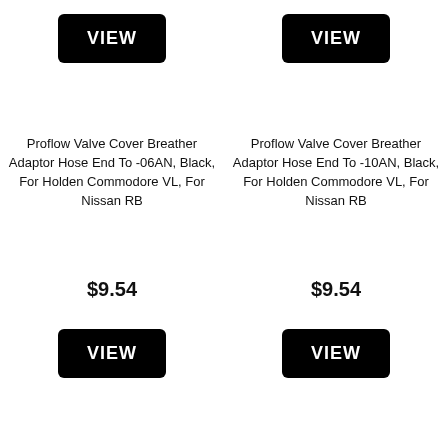[Figure (screenshot): Black VIEW button for product 1]
[Figure (screenshot): Black VIEW button for product 2]
Proflow Valve Cover Breather Adaptor Hose End To -06AN, Black, For Holden Commodore VL, For Nissan RB
Proflow Valve Cover Breather Adaptor Hose End To -10AN, Black, For Holden Commodore VL, For Nissan RB
$9.54
$9.54
[Figure (screenshot): Black VIEW button for product 1 (bottom)]
[Figure (screenshot): Black VIEW button for product 2 (bottom)]